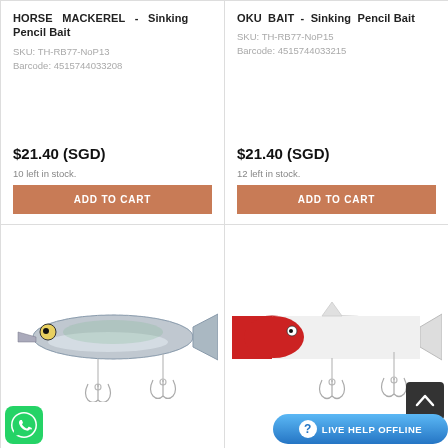HORSE MACKEREL - Sinking Pencil Bait
SKU: TH-RB77-NoP13
Barcode: 4515744033208
$21.40 (SGD)
10 left in stock.
ADD TO CART
OKU BAIT - Sinking Pencil Bait
SKU: TH-RB77-NoP15
Barcode: 4515744033215
$21.40 (SGD)
12 left in stock.
ADD TO CART
[Figure (photo): Silver fishing lure (sinking pencil bait) with treble hooks, mackerel/minnow coloring]
[Figure (photo): White and red head fishing lure (sinking pencil bait) with treble hooks]